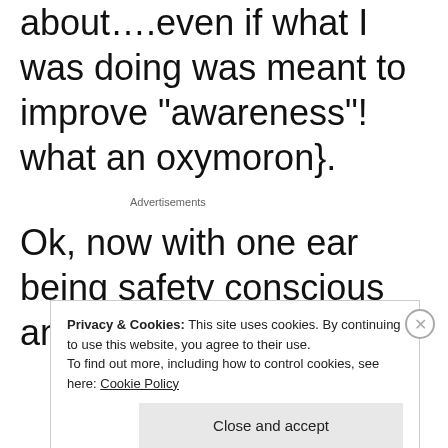about....even if what I was doing was meant to improve “awareness”! what an oxymoron}.
Advertisements
Ok, now with one ear being safety conscious and H having decided it
Privacy & Cookies: This site uses cookies. By continuing to use this website, you agree to their use.
To find out more, including how to control cookies, see here: Cookie Policy
Close and accept